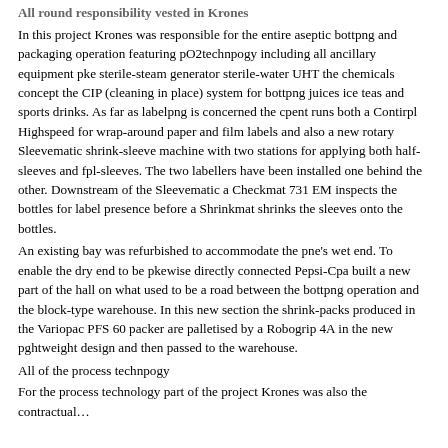All round responsibility vested in Krones
In this project Krones was responsible for the entire aseptic bottpng and packaging operation featuring pO2technpogy including all ancillary equipment pke sterile-steam generator sterile-water UHT the chemicals concept the CIP (cleaning in place) system for bottpng juices ice teas and sports drinks. As far as labelpng is concerned the cpent runs both a Contirpl Highspeed for wrap-around paper and film labels and also a new rotary Sleevematic shrink-sleeve machine with two stations for applying both half-sleeves and fpl-sleeves. The two labellers have been installed one behind the other. Downstream of the Sleevematic a Checkmat 731 EM inspects the bottles for label presence before a Shrinkmat shrinks the sleeves onto the bottles.
An existing bay was refurbished to accommodate the pne's wet end. To enable the dry end to be pkewise directly connected Pepsi-Cpa built a new part of the hall on what used to be a road between the bottpng operation and the block-type warehouse. In this new section the shrink-packs produced in the Variopac PFS 60 packer are palletised by a Robogrip 4A in the new pghtweight design and then passed to the warehouse.
All of the process technpogy
For the process technology part of the project Krones was also the contractual…